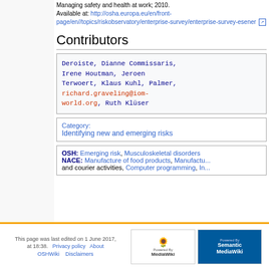Managing safety and health at work; 2010. Available at: http://osha.europa.eu/en/front-page/en//topics/riskobservatory/enterprise-survey/enterprise-survey-esener
Contributors
Deroiste, Dianne Commissaris, Irene Houtman, Jeroen Terwoert, Klaus Kuhl, Palmer, richard.graveling@iom-world.org, Ruth Klüser
Category: Identifying new and emerging risks
OSH: Emerging risk, Musculoskeletal disorders NACE: Manufacture of food products, Manufacture... and courier activities, Computer programming, In...
This page was last edited on 1 June 2017, at 18:38. Privacy policy About OSHWiki Disclaimers